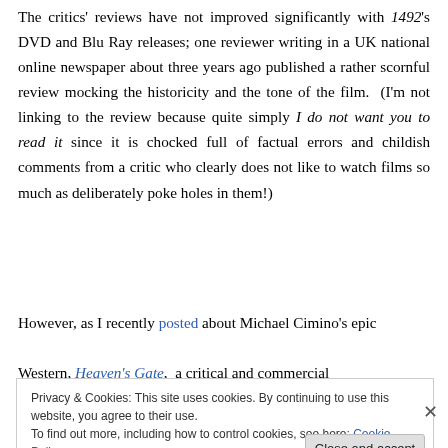The critics' reviews have not improved significantly with 1492's DVD and Blu Ray releases; one reviewer writing in a UK national online newspaper about three years ago published a rather scornful review mocking the historicity and the tone of the film.  (I'm not linking to the review because quite simply I do not want you to read it since it is chocked full of factual errors and childish comments from a critic who clearly does not like to watch films so much as deliberately poke holes in them!)
However, as I recently posted about Michael Cimino's epic Western, Heaven's Gate, a critical and commercial
Privacy & Cookies: This site uses cookies. By continuing to use this website, you agree to their use.
To find out more, including how to control cookies, see here: Cookie Policy